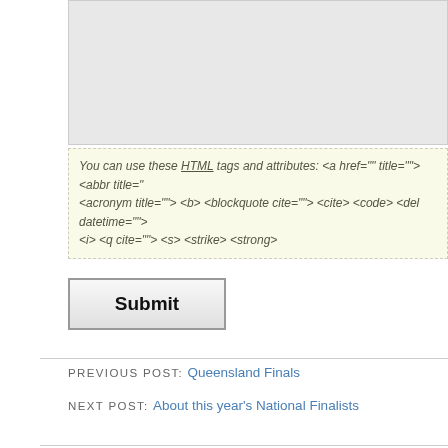[Figure (screenshot): Grey textarea input box at top of page, partially visible]
You can use these HTML tags and attributes: <a href="" title=""> <abbr title=""> <acronym title=""> <b> <blockquote cite=""> <cite> <code> <del datetime=""> <i> <q cite=""> <s> <strike> <strong>
Submit
PREVIOUS POST: Queensland Finals
NEXT POST: About this year's National Finalists